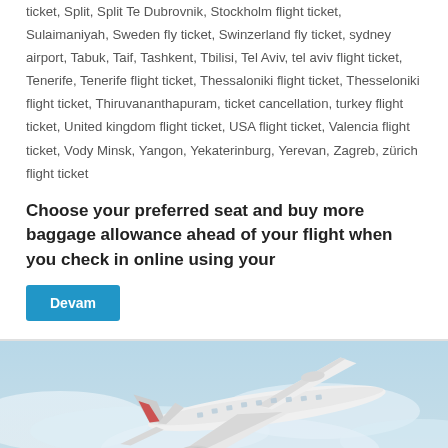ticket, Split, Split Te Dubrovnik, Stockholm flight ticket, Sulaimaniyah, Sweden fly ticket, Swinzerland fly ticket, sydney airport, Tabuk, Taif, Tashkent, Tbilisi, Tel Aviv, tel aviv flight ticket, Tenerife, Tenerife flight ticket, Thessaloniki flight ticket, Thesseloniki flight ticket, Thiruvananthapuram, ticket cancellation, turkey flight ticket, United kingdom flight ticket, USA flight ticket, Valencia flight ticket, Vody Minsk, Yangon, Yekaterinburg, Yerevan, Zagreb, zürich flight ticket
Choose your preferred seat and buy more baggage allowance ahead of your flight when you check in online using your
Devam
[Figure (photo): Aerial photograph of a large commercial aircraft flying above clouds with a blue sky background. The plane is viewed from above and slightly to the side showing the wings and tail. A teal/cyan scroll-to-top arrow icon is visible in the bottom right corner.]